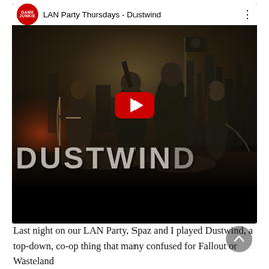[Figure (screenshot): YouTube video embed showing 'LAN Party Thursdays - Dustwind' from the Game Junkie channel. The thumbnail shows a post-apocalyptic scene with four armed characters standing in a ruined cityscape under a dark stormy sky, with a large YouTube play button overlay in the center and the word 'DUSTWIND' in large stone-textured letters at the bottom. Below the thumbnail is a black bar.]
Last night on our LAN Party, Spaz and I played Dustwind, a top-down, co-op thing that many confused for Fallout or Wasteland...